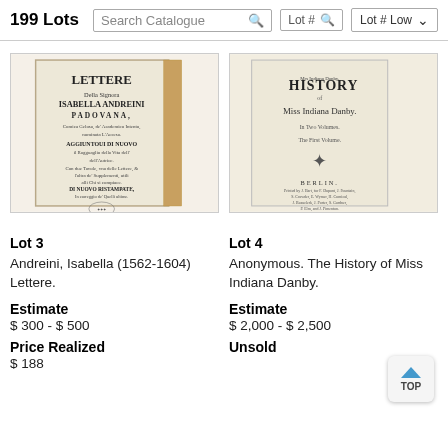199 Lots  Search Catalogue  Lot #  Lot # Low
[Figure (photo): Title page of 'Lettere Della Signora Isabella Andreini Padovana' published in Venice, MDCXLVII]
[Figure (photo): Title page of 'History of Miss Indiana Danby. In Two Volumes. The First Volume.' published in Berlin]
Lot 3
Andreini, Isabella (1562-1604) Lettere.
Estimate
$ 300 - $ 500
Price Realized
$ 188
Lot 4
Anonymous. The History of Miss Indiana Danby.
Estimate
$ 2,000 - $ 2,500
Unsold